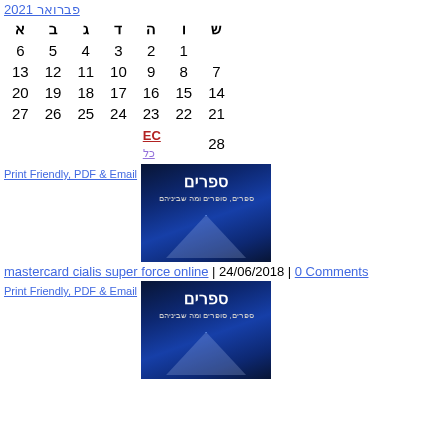פברואר 2021
| ש | ו | ה | ד | ג | ב | א |
| --- | --- | --- | --- | --- | --- | --- |
|  | 1 | 2 | 3 | 4 | 5 | 6 |
| 7 | 8 | 9 | 10 | 11 | 12 | 13 |
| 14 | 15 | 16 | 17 | 18 | 19 | 20 |
| 21 | 22 | 23 | 24 | 25 | 26 | 27 |
| 28 |  |  |  |  |  |  |
Print Friendly, PDF & Email
[Figure (illustration): Book banner image with Hebrew text: ספרים, ספרים, סופרים ומה שביניהם]
mastercard cialis super force online | 24/06/2018 | 0 Comments
Print Friendly, PDF & Email
[Figure (illustration): Book banner image with Hebrew text: ספרים, ספרים, סופרים ומה שביניהם]